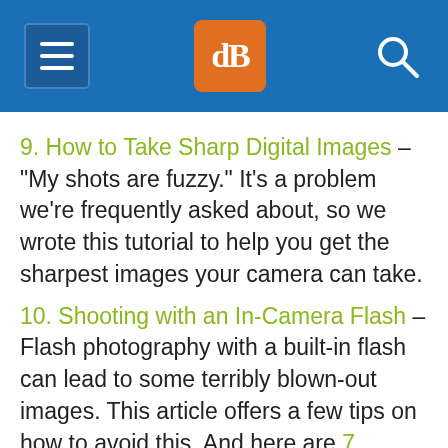dPS navigation bar
9. How to Take Sharp Digital Images – "My shots are fuzzy." It's a problem we're frequently asked about, so we wrote this tutorial to help you get the sharpest images your camera can take.
10. Shooting with an In-Camera Flash – Flash photography with a built-in flash can lead to some terribly blown-out images. This article offers a few tips on how to avoid this. And here are 7 Strategies for Avoiding Flash Blow Out.
11. How to Get Shallow Depth of Field in Your...